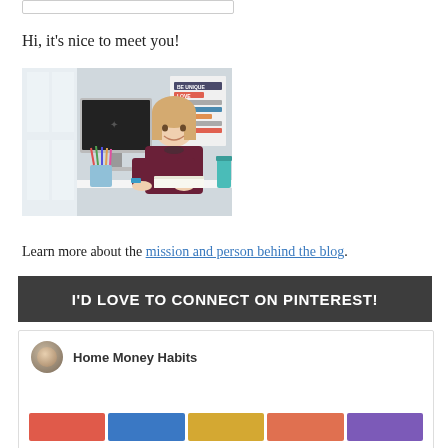[Figure (other): Search input box (partially visible at top)]
Hi, it's nice to meet you!
[Figure (photo): A smiling blonde woman sitting at a white desk with an iMac computer, colorful pens in a cup, a teal tumbler, and a motivational poster on the wall behind her.]
Learn more about the mission and person behind the blog.
I'D LOVE TO CONNECT ON PINTEREST!
[Figure (screenshot): Pinterest profile card for 'Home Money Habits' showing a circular avatar and five colored board thumbnails (red, blue, yellow, coral, purple).]